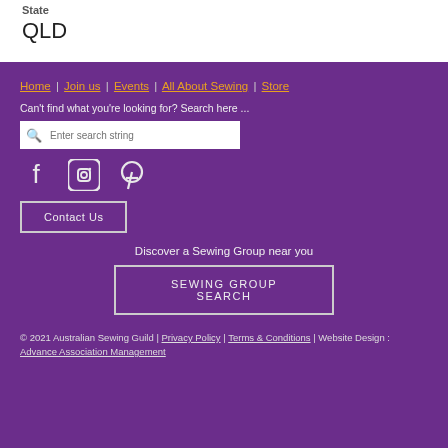State
QLD
Home | Join us | Events | All About Sewing | Store
Can't find what you're looking for? Search here ...
[search box]
[Facebook] [Instagram] [Pinterest]
Contact Us
Discover a Sewing Group near you
SEWING GROUP SEARCH
© 2021 Australian Sewing Guild | Privacy Policy | Terms & Conditions | Website Design : Advance Association Management